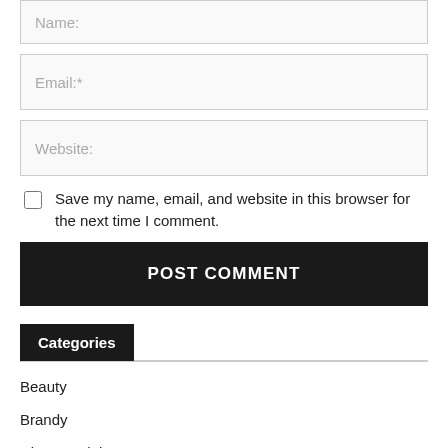Name:
Email:*
Website:
Save my name, email, and website in this browser for the next time I comment.
POST COMMENT
Categories
Beauty
Brandy
Diet & Weight Loss